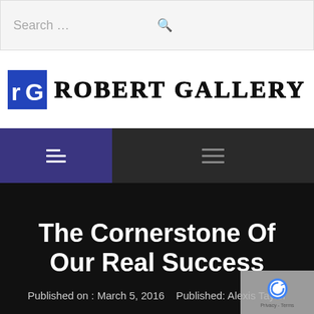[Figure (screenshot): Search bar with placeholder text 'Search ...' and a search icon on the right]
[Figure (logo): Robert Gallery logo: blue rG icon box followed by 'ROBERT GALLERY' text in bold serif font]
[Figure (screenshot): Navigation bar with dark background: left side has blue/indigo background with three-line menu icon (hamburger), right side has dark background with hamburger menu icon]
The Cornerstone Of Our Real Success
Published on : March 5, 2016    Published: Alexis Taylor